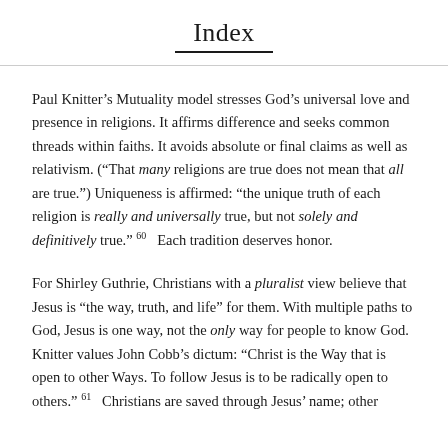Index
Paul Knitter’s Mutuality model stresses God’s universal love and presence in religions. It affirms difference and seeks common threads within faiths. It avoids absolute or final claims as well as relativism. (“That many religions are true does not mean that all are true.”) Uniqueness is affirmed: “the unique truth of each religion is really and universally true, but not solely and definitively true.” ⁠⁠⁠⁠⁠⁠⁠⁠⁠⁠⁠⁠⁠⁠⁠⁠⁠⁠⁠⁠⁠⁠⁠⁠⁠⁠⁠⁠⁠⁠⁠⁠⁠⁠⁠⁠⁠⁠⁠⁠⁠⁠⁠⁠⁠⁠⁠⁠⁠⁠⁠⁠⁠⁠⁠⁠⁠⁠⁠⁠⁠⁠⁠⁠⁠⁠⁠⁠⁠⁠⁠⁠⁠⁠⁠⁠⁠⁠⁠⁠⁠⁠⁠⁠⁠⁠⁠⁠⁠⁠⁠⁠⁠⁠⁠⁠⁠⁠⁠⁠ 60  Each tradition deserves honor.
For Shirley Guthrie, Christians with a pluralist view believe that Jesus is “the way, truth, and life” for them. With multiple paths to God, Jesus is one way, not the only way for people to know God. Knitter values John Cobb’s dictum: “Christ is the Way that is open to other Ways. To follow Jesus is to be radically open to others.” 61  Christians are saved through Jesus’ name; other